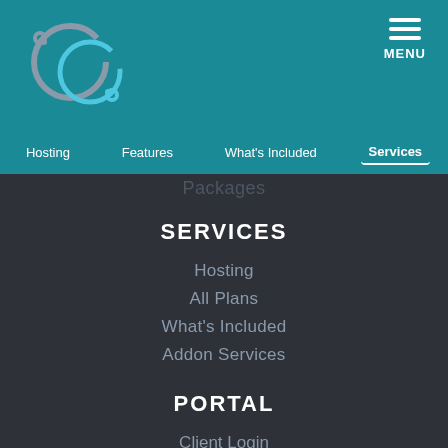[Figure (logo): Two interlocked circular rings logo in gray and teal/blue colors]
[Figure (other): Hamburger menu icon with three horizontal lines and MENU label]
Hosting   Features   What's Included   Services
Packages
SERVICES
Hosting
All Plans
What's Included
Addon Services
PORTAL
Client Login